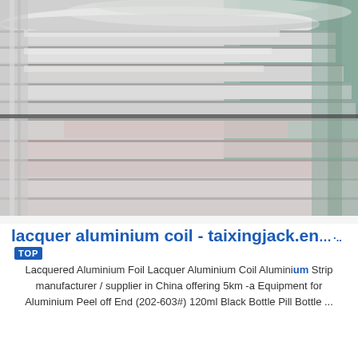[Figure (photo): Close-up photograph of stacked aluminium coil rolls/strips, showing metallic silver and slight pink/teal reflections, coiled tightly in layers viewed from the side.]
lacquer aluminium coil - taixingjack.en...
Lacquered Aluminium Foil Lacquer Aluminium Coil Aluminium Strip manufacturer / supplier in China offering 5km -a Equipment for Aluminium Peel off End (202-603#) 120ml Black Bottle Pill Bottle ...